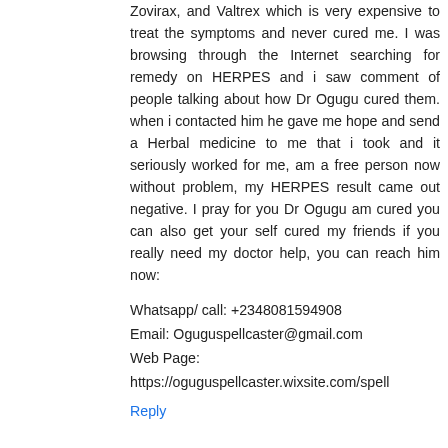Zovirax, and Valtrex which is very expensive to treat the symptoms and never cured me. I was browsing through the Internet searching for remedy on HERPES and i saw comment of people talking about how Dr Ogugu cured them. when i contacted him he gave me hope and send a Herbal medicine to me that i took and it seriously worked for me, am a free person now without problem, my HERPES result came out negative. I pray for you Dr Ogugu am cured you can also get your self cured my friends if you really need my doctor help, you can reach him now:
Whatsapp/ call: +2348081594908
Email: Oguguspellcaster@gmail.com
Web Page: https://oguguspellcaster.wixsite.com/spell
Reply
best documents2  April 14, 2019 at 5:58 PM
Buy High Quality Fake and Real Registered and Unregistered Documents : ID cards, Visa, Passport, Medical Reports, Change all identity documents, USA/UK Residence Permits, Clear criminal records, Social Security...